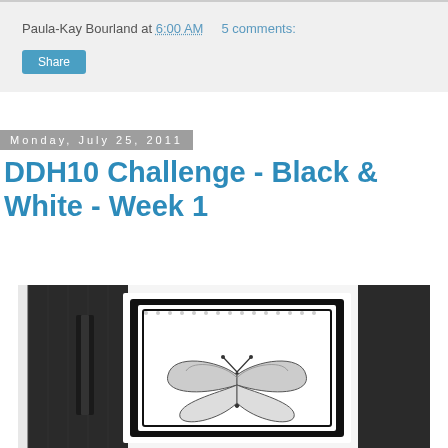Paula-Kay Bourland at 6:00 AM   5 comments:
Share
Monday, July 25, 2011
DDH10 Challenge - Black & White - Week 1
[Figure (photo): Black and white photo of a handmade greeting card featuring a butterfly stamp image on a layered white panel with scalloped edges, set against dark patterned paper background]